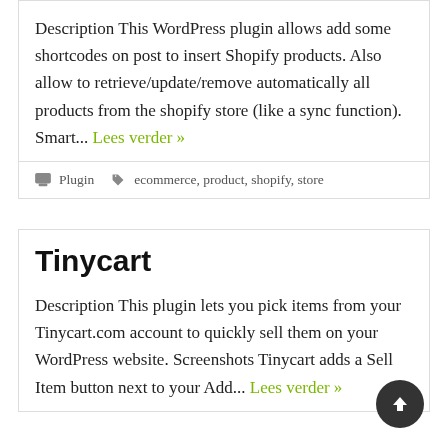Description This WordPress plugin allows add some shortcodes on post to insert Shopify products. Also allow to retrieve/update/remove automatically all products from the shopify store (like a sync function). Smart... Lees verder »
Plugin   ecommerce, product, shopify, store
Tinycart
Description This plugin lets you pick items from your Tinycart.com account to quickly sell them on your WordPress website. Screenshots Tinycart adds a Sell Item button next to your Add... Lees verder »